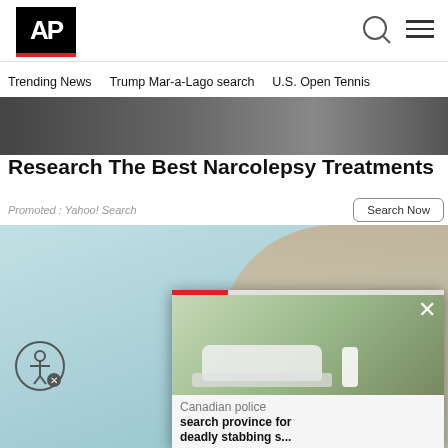AP
Trending News
Trump Mar-a-Lago search
U.S. Open Tennis
[Figure (photo): Partial top image strip showing dark/muted photo background]
Research The Best Narcolepsy Treatments
Promoted : Yahoo! Search
Search Now
[Figure (photo): Advertisement image showing a smiling young woman with long hair holding a credit card, on a light blue/teal background]
[Figure (screenshot): Video popup overlay showing a forensic scene with a white car and investigators in white suits outdoors. Caption reads: Canadian police search province for deadly stabbing s...]